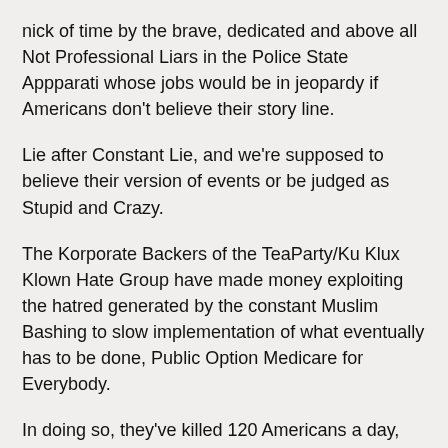nick of time by the brave, dedicated and above all Not Professional Liars in the Police State Appparati whose jobs would be in jeopardy if Americans don't believe their story line.
Lie after Constant Lie, and we're supposed to believe their version of events or be judged as Stupid and Crazy.
The Korporate Backers of the TeaParty/Ku Klux Klown Hate Group have made money exploiting the hatred generated by the constant Muslim Bashing to slow implementation of what eventually has to be done, Public Option Medicare for Everybody.
In doing so, they've killed 120 Americans a day, more every month than were killed at 911. And that being only those Americans who could afford Private Health Insurance, and were denied Health Care anyway. Many